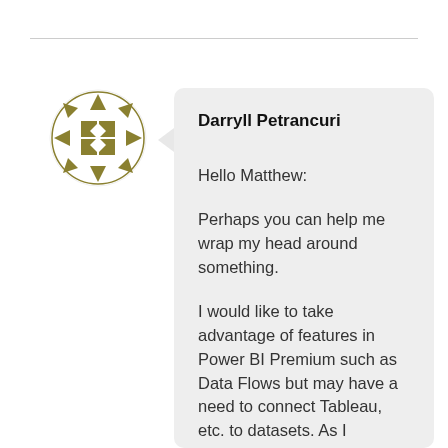[Figure (illustration): Geometric decorative avatar icon with olive/dark yellow triangles and diamond shapes arranged in a circular pattern on a white circle background]
Darryll Petrancuri
Hello Matthew:

Perhaps you can help me wrap my head around something.

I would like to take advantage of features in Power BI Premium such as Data Flows but may have a need to connect Tableau, etc. to datasets. As I...